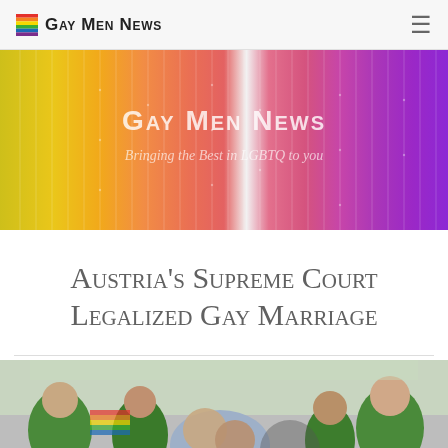Gay Men News
[Figure (illustration): Rainbow-colored pencils/streamer banner background with text 'Gay Men News' and subtitle 'Bringing the Best in LGBTQ to you']
Austria's Supreme Court Legalized Gay Marriage
[Figure (photo): Crowd of people celebrating, some wearing green t-shirts, outdoors event]